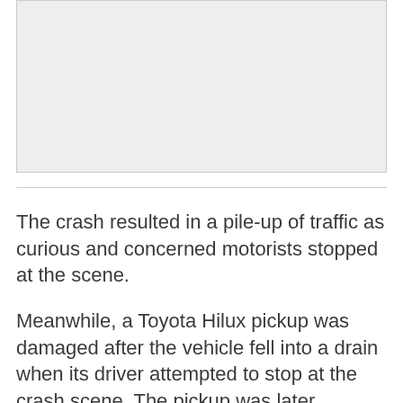[Figure (photo): A light gray placeholder image area, representing a photo related to the crash scene article.]
The crash resulted in a pile-up of traffic as curious and concerned motorists stopped at the scene.
Meanwhile, a Toyota Hilux pickup was damaged after the vehicle fell into a drain when its driver attempted to stop at the crash scene. The pickup was later removed when a